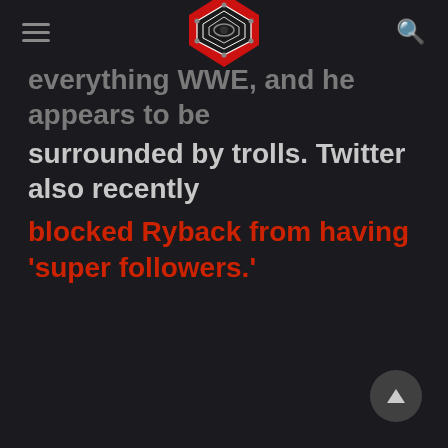[Figure (logo): Wrestling news website logo — a red and black wrestling ring viewed from above with ropes, diamond/pentagon shaped perspective]
everything WWE, and he appears to be surrounded by trolls. Twitter also recently blocked Ryback from having 'super followers.'